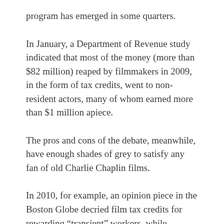program has emerged in some quarters.
In January, a Department of Revenue study indicated that most of the money (more than $82 million) reaped by filmmakers in 2009, in the form of tax credits, went to non-resident actors, many of whom earned more than $1 million apiece.
The pros and cons of the debate, meanwhile, have enough shades of grey to satisfy any fan of old Charlie Chaplin films.
In 2010, for example, an opinion piece in the Boston Globe decried film tax credits for rewarding “transient” workers, while denying money to the state for educational and infrastructure projects.